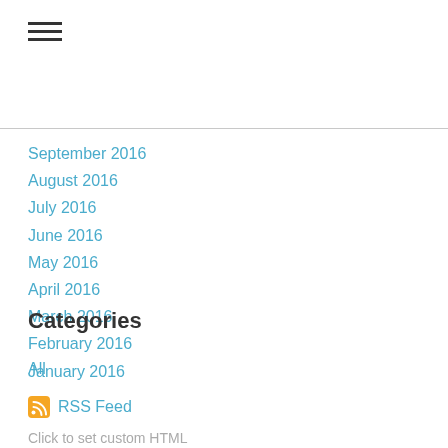[Figure (other): Hamburger menu icon with three horizontal lines]
September 2016
August 2016
July 2016
June 2016
May 2016
April 2016
March 2016
February 2016
January 2016
Categories
All
RSS Feed
Click to set custom HTML